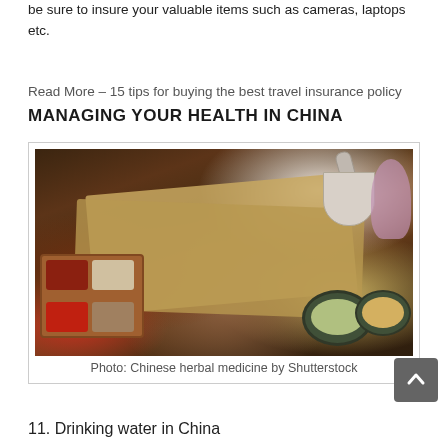be sure to insure your valuable items such as cameras, laptops etc.
Read More – 15 tips for buying the best travel insurance policy
MANAGING YOUR HEALTH IN CHINA
[Figure (photo): Photo of Chinese herbal medicine items on a wooden table including mortar and pestle, herbal scrolls, bowls of herbs and spices, arranged with flowers]
Photo: Chinese herbal medicine by Shutterstock
11. Drinking water in China